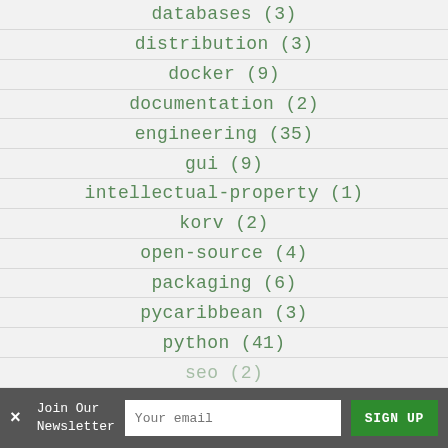databases (3)
distribution (3)
docker (9)
documentation (2)
engineering (35)
gui (9)
intellectual-property (1)
korv (2)
open-source (4)
packaging (6)
pycaribbean (3)
python (41)
seo (2)
Join Our Newsletter
Your email
SIGN UP